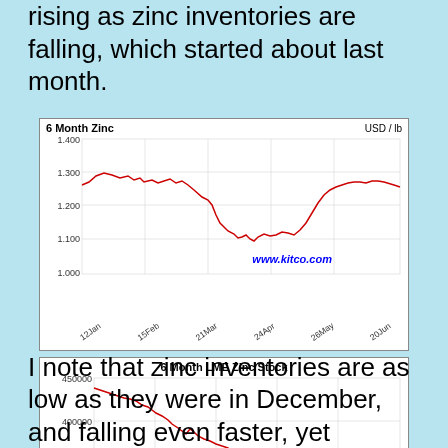rising as zinc inventories are falling, which started about last month.
[Figure (continuous-plot): Line chart showing 6 Month Zinc price in USD/lb from 12Jan to 20Jun, ranging from about 1.100 to 1.400, with a peak around 1.330 in mid-Feb, a trough near 1.130 in mid-May, and recovery to ~1.270 by late June.]
[Figure (continuous-plot): Line chart showing 6 Month LME Zinc Stock in metric tons from 02Dec to 10May, declining overall from about 450000 to around 325000, with a jagged downward trend.]
I note that zinc inventories are as low as they were in December, and falling even faster, yet